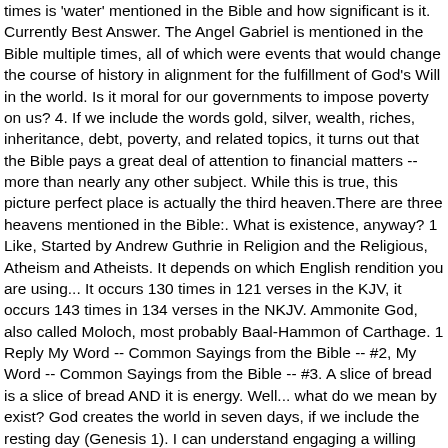times is 'water' mentioned in the Bible and how significant is it. Currently Best Answer. The Angel Gabriel is mentioned in the Bible multiple times, all of which were events that would change the course of history in alignment for the fulfillment of God's Will in the world. Is it moral for our governments to impose poverty on us? 4. If we include the words gold, silver, wealth, riches, inheritance, debt, poverty, and related topics, it turns out that the Bible pays a great deal of attention to financial matters -- more than nearly any other subject. While this is true, this picture perfect place is actually the third heaven.There are three heavens mentioned in the Bible:. What is existence, anyway? 1 Like, Started by Andrew Guthrie in Religion and the Religious, Atheism and Atheists. It depends on which English rendition you are using... It occurs 130 times in 121 verses in the KJV, it occurs 143 times in 134 verses in the NKJV. Ammonite God, also called Moloch, most probably Baal-Hammon of Carthage. 1 Reply My Word -- Common Sayings from the Bible -- #2, My Word -- Common Sayings from the Bible -- #3. A slice of bread is a slice of bread AND it is energy. Well... what do we mean by exist? God creates the world in seven days, if we include the resting day (Genesis 1). I can understand engaging a willing suspension of disbelief and acting as if there is a God, and I have known people who have started that way and ended up actually believing. The table below gives some word counts for four popular versions of the Bible. Bible verses about Time. Answer has 28 votes. It is in 24 verses. He has become a national God. I really am curious. Furthermore, in addition